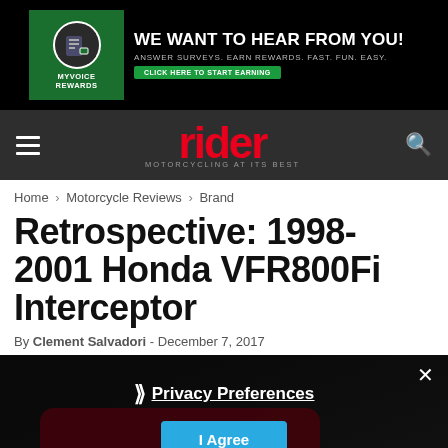[Figure (other): Advertisement banner: MyVoice Rewards - WE WANT TO HEAR FROM YOU! Answer surveys. Earn rewards. Fast. Fun. Easy. Click here to start earning.]
rider MOTORCYCLING AT ITS BEST
Home › Motorcycle Reviews › Brand
Retrospective: 1998-2001 Honda VFR800Fi Interceptor
By Clement Salvadori - December 7, 2017
[Figure (photo): Motorcycle photo (Honda VFR800Fi) partially visible with privacy preferences overlay showing 'Privacy Preferences' link and 'I Agree' button]